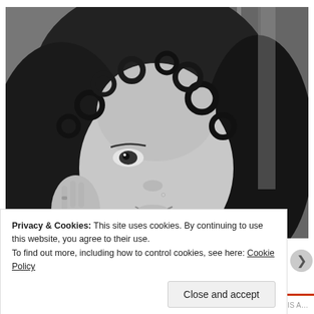[Figure (photo): Black and white close-up portrait photo of a young woman with curly hair, smiling slightly, resting her hand near her face.]
Privacy & Cookies: This site uses cookies. By continuing to use this website, you agree to their use.
To find out more, including how to control cookies, see here: Cookie Policy
Close and accept